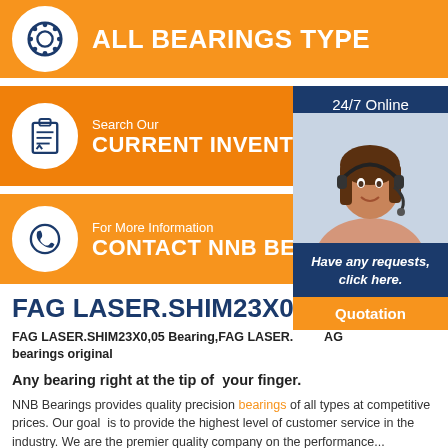ALL BEARINGS TYPE
Search Our CURRENT INVENTORY
For More Information CONTACT NNB BE
24/7 Online
[Figure (photo): Customer service representative with headset smiling]
Have any requests, click here.
Quotation
FAG LASER.SHIM23X0,05 Be
FAG LASER.SHIM23X0,05 Bearing,FAG LASER. AG bearings original
Any bearing right at the tip of your finger.
NNB Bearings provides quality precision bearings of all types at competitive prices. Our goal is to provide the highest level of customer service in the industry. We are the premier quality company on the performance...